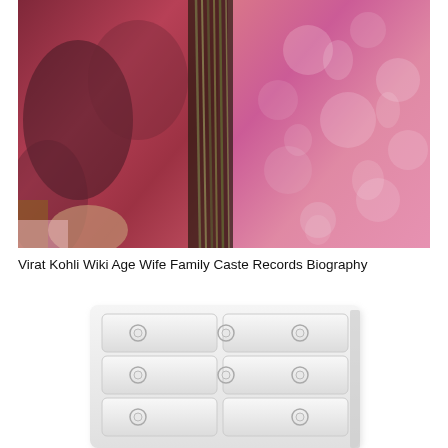[Figure (photo): Close-up photo of two people in pink/red Indian traditional outfits, showing fabric textures with dark braided rope/fringe detail in the center]
Virat Kohli Wiki Age Wife Family Caste Records Biography
[Figure (photo): Image of a white dresser/chest of drawers with circular ring pulls on six drawers arranged in three rows of two, plus a bottom drawer]